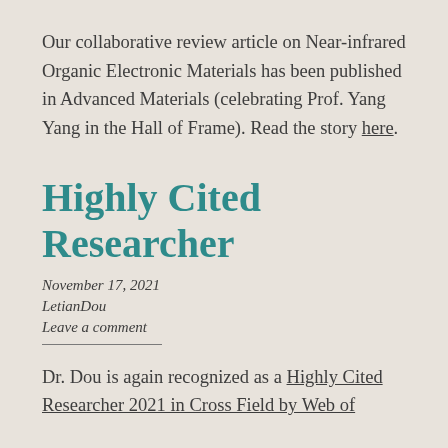Our collaborative review article on Near-infrared Organic Electronic Materials has been published in Advanced Materials (celebrating Prof. Yang Yang in the Hall of Frame). Read the story here.
Highly Cited Researcher
November 17, 2021
LetianDou
Leave a comment
Dr. Dou is again recognized as a Highly Cited Researcher 2021 in Cross Field by Web of